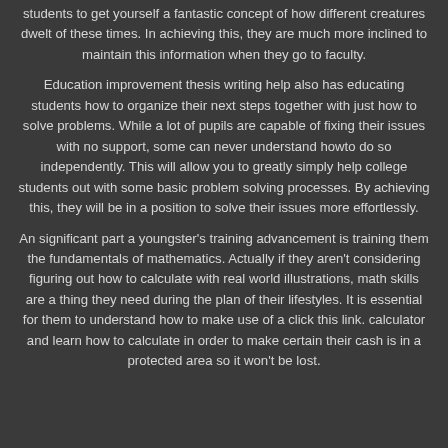students to get yourself a fantastic concept of how different creatures dwelt of these times. In achieving this, they are much more inclined to maintain this information when they go to faculty.
Education improvement thesis writing help also has educating students how to organize their next steps together with just how to solve problems. While a lot of pupils are capable of fixing their issues with no support, some can never understand howto do so independently. This will allow you to greatly simply help college students out with some basic problem solving processes. By achieving this, they will be in a position to solve their issues more effortlessly.
An significant part a youngster's training advancement is training them the fundamentals of mathematics. Actually if they aren't considering figuring out how to calculate with real world illustrations, math skills are a thing they need during the plan of their lifestyles. It is essential for them to understand how to make use of a click this link. calculator and learn how to calculate in order to make certain their cash is in a protected area so it won't be lost.